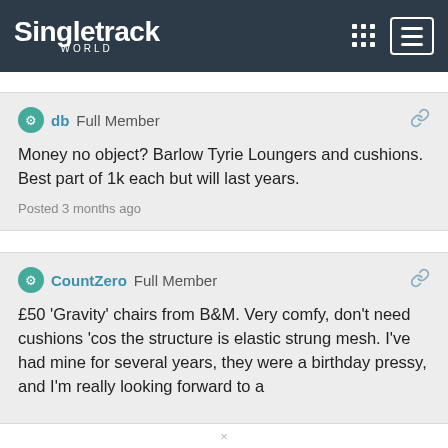Singletrack World
db Full Member
Money no object? Barlow Tyrie Loungers and cushions. Best part of 1k each but will last years.
Posted 3 months ago
CountZero Full Member
£50 'Gravity' chairs from B&M. Very comfy, don't need cushions 'cos the structure is elastic strung mesh. I've had mine for several years, they were a birthday pressy, and I'm really looking forward to a